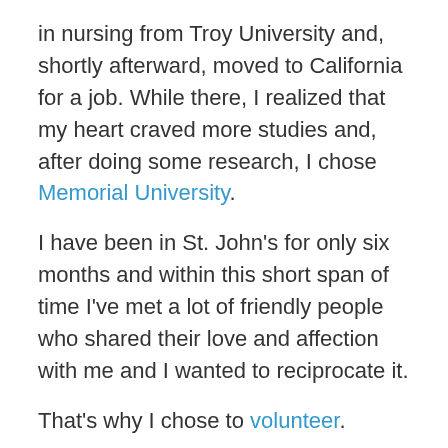in nursing from Troy University and, shortly afterward, moved to California for a job. While there, I realized that my heart craved more studies and, after doing some research, I chose Memorial University.
I have been in St. John's for only six months and within this short span of time I've met a lot of friendly people who shared their love and affection with me and I wanted to reciprocate it.
That's why I chose to volunteer.
The fact is, meeting and sharing time with new people through volunteer work always makes me happy. I'm an altruist by nature and volunteering adds value to my life. Because I used to work as a registered nurse in the United States, I felt by volunteering with Eastern Health, I was